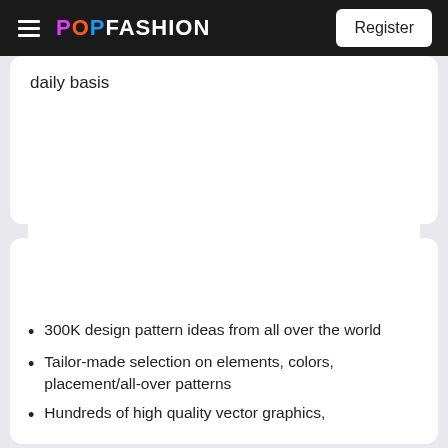POPFASHION | Register
daily basis
300K design pattern ideas from all over the world
Tailor-made selection on elements, colors, placement/all-over patterns
Hundreds of high quality vector graphics,